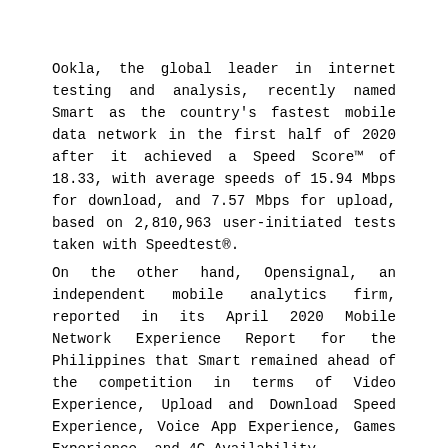Ookla, the global leader in internet testing and analysis, recently named Smart as the country's fastest mobile data network in the first half of 2020 after it achieved a Speed Score™ of 18.33, with average speeds of 15.94 Mbps for download, and 7.57 Mbps for upload, based on 2,810,963 user-initiated tests taken with Speedtest®.
On the other hand, Opensignal, an independent mobile analytics firm, reported in its April 2020 Mobile Network Experience Report for the Philippines that Smart remained ahead of the competition in terms of Video Experience, Upload and Download Speed Experience, Voice App Experience, Games Experience, and 4G Availability.